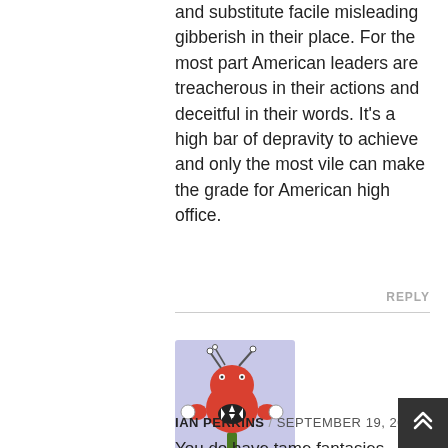and substitute facile misleading gibberish in their place. For the most part American leaders are treacherous in their actions and deceitful in their words. It's a high bar of depravity to achieve and only the most vile can make the grade for American high office.
REPLY
[Figure (illustration): Cartoon illustration of a red alien/monster creature with antennae, claws, and a mouth showing teeth, standing on a green branch, on a light purple background.]
IAN PERKINS / SEPTEMBER 19, 2020
You do have tame fantasies. Mine are too gruesome to print, but they don't involve